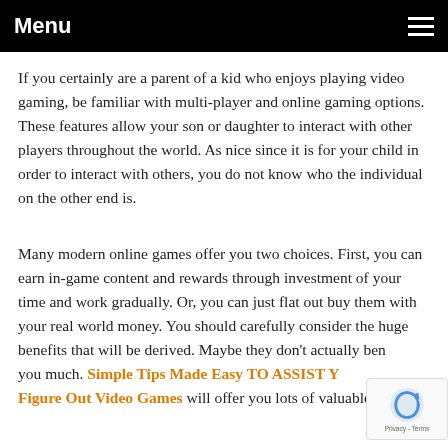Menu
If you certainly are a parent of a kid who enjoys playing video gaming, be familiar with multi-player and online gaming options. These features allow your son or daughter to interact with other players throughout the world. As nice since it is for your child in order to interact with others, you do not know who the individual on the other end is.
Many modern online games offer you two choices. First, you can earn in-game content and rewards through investment of your time and work gradually. Or, you can just flat out buy them with your real world money. You should carefully consider the huge benefits that will be derived. Maybe they don't actually benefit you much. Simple Tips Made Easy TO ASSIST YOU Figure Out Video Games will offer you lots of valuable...